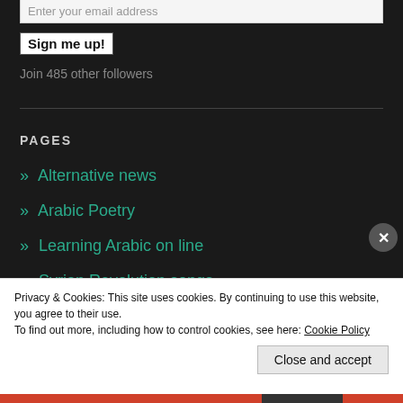Enter your email address
Sign me up!
Join 485 other followers
PAGES
» Alternative news
» Arabic Poetry
» Learning Arabic on line
» Syrian Revolution songs
Privacy & Cookies: This site uses cookies. By continuing to use this website, you agree to their use.
To find out more, including how to control cookies, see here: Cookie Policy
Close and accept